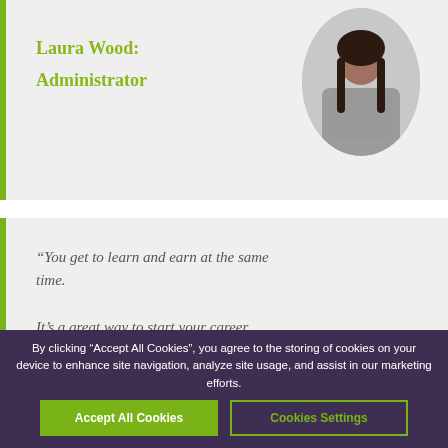Laura Wood: Administrator
[Figure (photo): Profile photo of Laura Wood, a woman with long dark hair]
"You get to learn and earn at the same time. It's a great way to start your career without having to go to university and rack up lots of debt."
[Figure (photo): Profile photo of a young man with a beard]
By clicking "Accept All Cookies", you agree to the storing of cookies on your device to enhance site navigation, analyze site usage, and assist in our marketing efforts.
Accept All Cookies
Cookies Settings
We ... with their progress and co... pap...